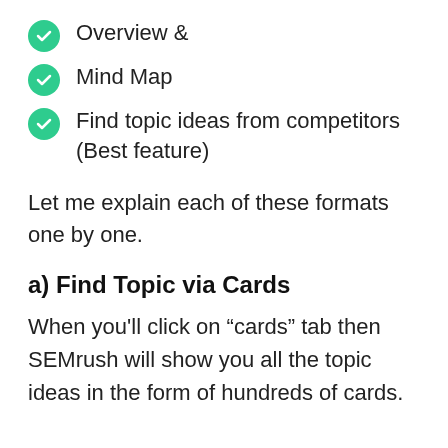Overview &
Mind Map
Find topic ideas from competitors (Best feature)
Let me explain each of these formats one by one.
a) Find Topic via Cards
When you'll click on “cards” tab then SEMrush will show you all the topic ideas in the form of hundreds of cards.